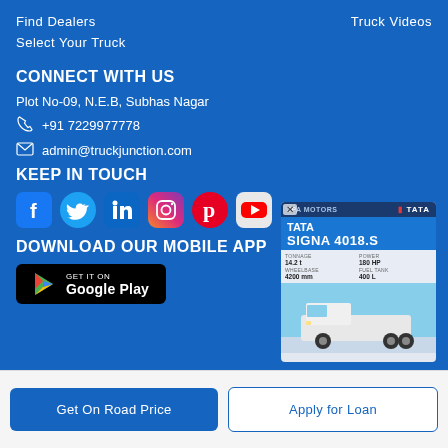Find Dealers    Truck Videos
Select Your Truck
CONNECT WITH US
Plot No-09, N.E.B, Subhas Nagar
+91 7229977778
admin@truckjunction.com
KEEP IN TOUCH
[Figure (infographic): Social media icons: Facebook, Twitter, LinkedIn, Instagram, Pinterest, YouTube]
DOWNLOAD OUR MOBILE APP
[Figure (screenshot): Get it on Google Play button]
[Figure (infographic): Tata Signa 4018.S truck advertisement popup showing specs and truck image]
Get On Road Price
Apply for Loan